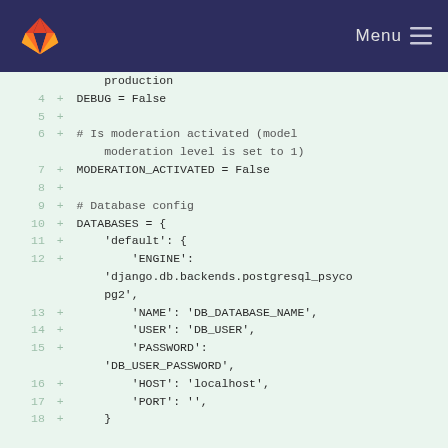[Figure (screenshot): GitLab navigation header with fox logo and Menu button on dark navy background]
production
4  +  DEBUG = False
5  +
6  +  # Is moderation activated (model moderation level is set to 1)
7  +  MODERATION_ACTIVATED = False
8  +
9  +  # Database config
10 +  DATABASES = {
11 +      'default': {
12 +          'ENGINE': 'django.db.backends.postgresql_psycopg2',
13 +          'NAME': 'DB_DATABASE_NAME',
14 +          'USER': 'DB_USER',
15 +          'PASSWORD': 'DB_USER_PASSWORD',
16 +          'HOST': 'localhost',
17 +          'PORT': '',
18 +      }